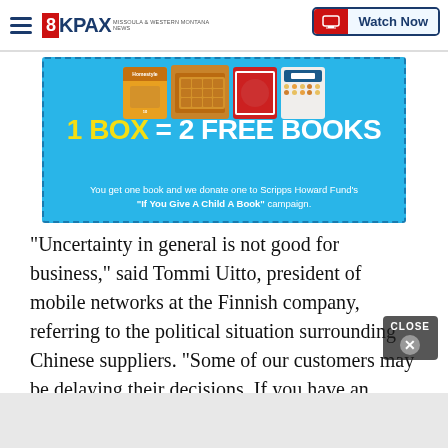8KPAX — Watch Now
[Figure (photo): Advertisement banner: light blue background with product images (cereal boxes, waffles), text '1 BOX = 2 FREE BOOKS', subtext 'You get one book and we donate one to Scripps Howard Fund\'s "If You Give A Child A Book" campaign.']
“Uncertainty in general is not good for business,” said Tommi Uitto, president of mobile networks at the Finnish company, referring to the political situation surrounding Chinese suppliers. “Some of our customers may be delaying their decisions. If you have an operator who has Nokia and a Chinese supplier